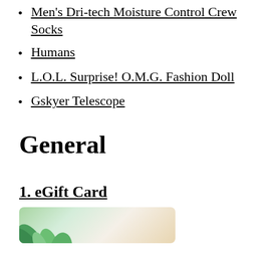Men's Dri-tech Moisture Control Crew Socks
Humans
L.O.L. Surprise! O.M.G. Fashion Doll
Gskyer Telescope
General
1. eGift Card
[Figure (photo): Partial view of a decorative gift card with tropical leaf design in green and earthy tones]